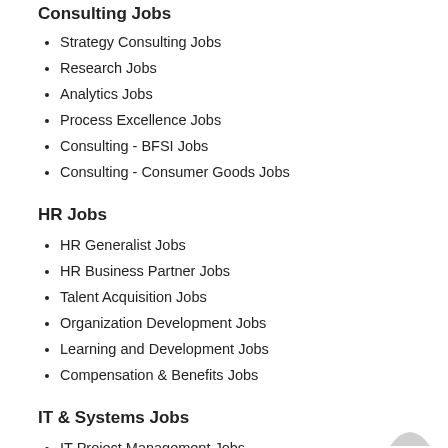Consulting Jobs
Strategy Consulting Jobs
Research Jobs
Analytics Jobs
Process Excellence Jobs
Consulting - BFSI Jobs
Consulting - Consumer Goods Jobs
HR Jobs
HR Generalist Jobs
HR Business Partner Jobs
Talent Acquisition Jobs
Organization Development Jobs
Learning and Development Jobs
Compensation & Benefits Jobs
IT & Systems Jobs
IT Project Management Jobs
IT Consulting Jobs
Process Jobs